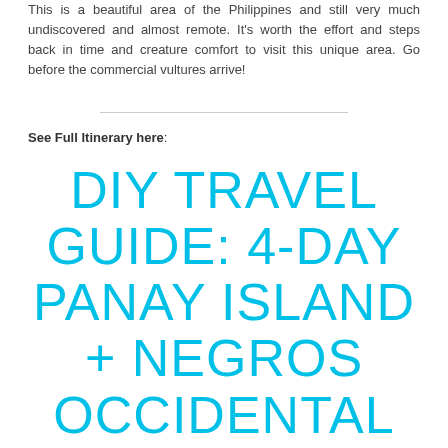This is a beautiful area of the Philippines and still very much undiscovered and almost remote. It's worth the effort and steps back in time and creature comfort to visit this unique area. Go before the commercial vultures arrive!
See Full Itinerary here:
DIY TRAVEL GUIDE: 4-DAY PANAY ISLAND + NEGROS OCCIDENTAL ADV